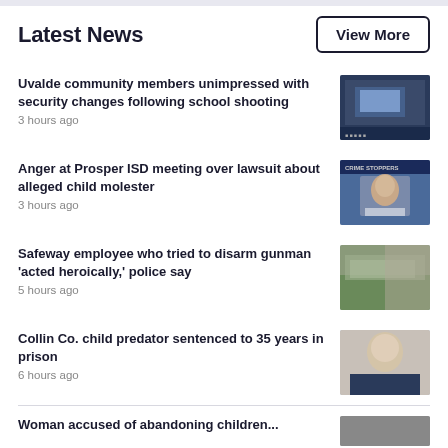Latest News
View More
Uvalde community members unimpressed with security changes following school shooting
3 hours ago
Anger at Prosper ISD meeting over lawsuit about alleged child molester
3 hours ago
Safeway employee who tried to disarm gunman 'acted heroically,' police say
5 hours ago
Collin Co. child predator sentenced to 35 years in prison
6 hours ago
Woman accused of abandoning children...